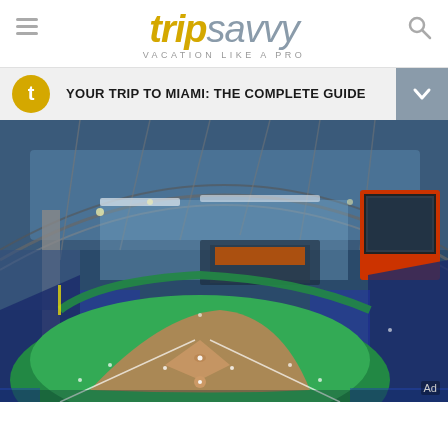tripsavvy VACATION LIKE A PRO
YOUR TRIP TO MIAMI: THE COMPLETE GUIDE
[Figure (photo): Aerial panoramic interior view of a domed baseball stadium (Marlins Park, Miami) during a game, showing the retractable roof structure, outfield, scoreboard, and field with players.]
Ad